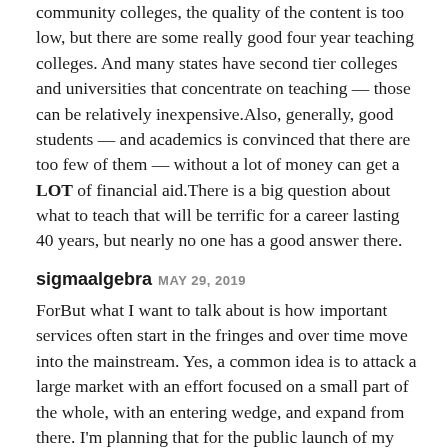community colleges, the quality of the content is too low, but there are some really good four year teaching colleges. And many states have second tier colleges and universities that concentrate on teaching — those can be relatively inexpensive.Also, generally, good students — and academics is convinced that there are too few of them — without a lot of money can get a LOT of financial aid.There is a big question about what to teach that will be terrific for a career lasting 40 years, but nearly no one has a good answer there.
sigmaalgebra MAY 29, 2019
ForBut what I want to talk about is how important services often start in the fringes and over time move into the mainstream. Yes, a common idea is to attack a large market with an effort focused on a small part of the whole, with an entering wedge, and expand from there. I'm planning that for the public launch of my